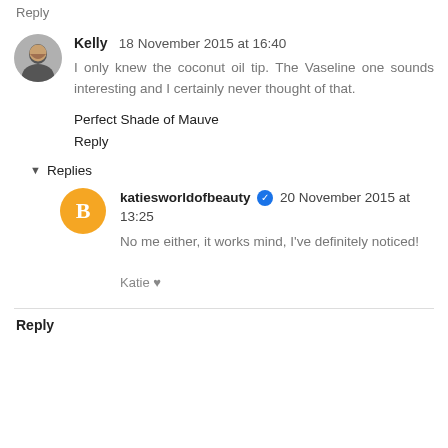Reply
Kelly  18 November 2015 at 16:40
I only knew the coconut oil tip. The Vaseline one sounds interesting and I certainly never thought of that.
Perfect Shade of Mauve
Reply
Replies
katiesworldofbeauty  20 November 2015 at 13:25
No me either, it works mind, I've definitely noticed!
Katie ♥
Reply